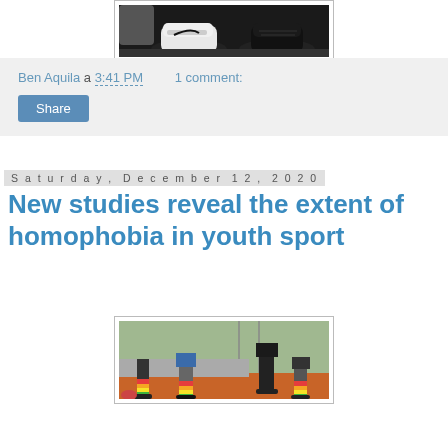[Figure (photo): Black and white photo showing feet/shoes of a person sitting, wearing Nike sneakers, at the top of the page (partial, cropped)]
Ben Aquila a 3:41 PM    1 comment:
Share
Saturday, December 12, 2020
New studies reveal the extent of homophobia in youth sport
[Figure (photo): Photo of young athletes sitting on a bench outdoors wearing rainbow-striped socks, visible lower legs and sports uniforms]